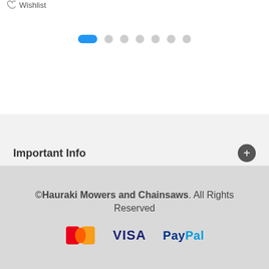Wishlist
[Figure (other): Pagination indicator: one active blue pill-shaped dot followed by 6 inactive grey circular dots]
Important Info
©Hauraki Mowers and Chainsaws. All Rights Reserved